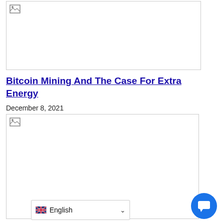[Figure (photo): Placeholder image box (top) - white rectangle with border, broken image icon in top-left corner]
Bitcoin Mining And The Case For Extra Energy
December 8, 2021
[Figure (photo): Placeholder image box (bottom) - white rectangle with border, broken image icon in top-left corner]
English (language selector dropdown)